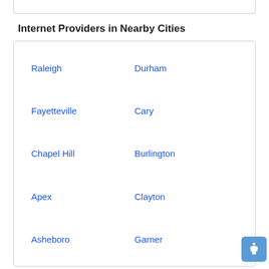Internet Providers in Nearby Cities
Raleigh
Durham
Fayetteville
Cary
Chapel Hill
Burlington
Apex
Clayton
Asheboro
Garner